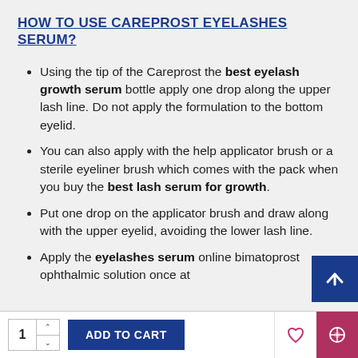HOW TO USE CAREPROST EYELASHES SERUM?
Using the tip of the Careprost the best eyelash growth serum bottle apply one drop along the upper lash line. Do not apply the formulation to the bottom eyelid.
You can also apply with the help applicator brush or a sterile eyeliner brush which comes with the pack when you buy the best lash serum for growth.
Put one drop on the applicator brush and draw along with the upper eyelid, avoiding the lower lash line.
Apply the eyelashes serum online bimatoprost ophthalmic solution once at